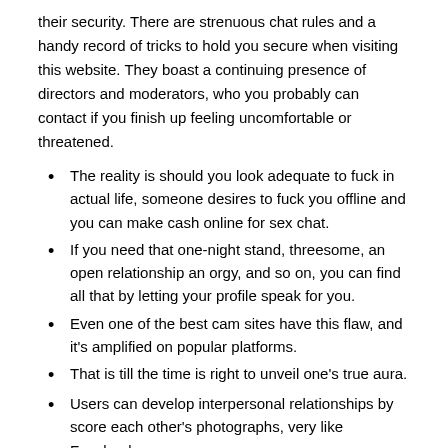their security. There are strenuous chat rules and a handy record of tricks to hold you secure when visiting this website. They boast a continuing presence of directors and moderators, who you probably can contact if you finish up feeling uncomfortable or threatened.
The reality is should you look adequate to fuck in actual life, someone desires to fuck you offline and you can make cash online for sex chat.
If you need that one-night stand, threesome, an open relationship an orgy, and so on, you can find all that by letting your profile speak for you.
Even one of the best cam sites have this flaw, and it's amplified on popular platforms.
That is till the time is right to unveil one's true aura.
Users can develop interpersonal relationships by score each other's photographs, very like Facebook.
Not to be confused with AdultFriendFinder – it's a fully different sex hookup chat. The free model has minor restrictions, however